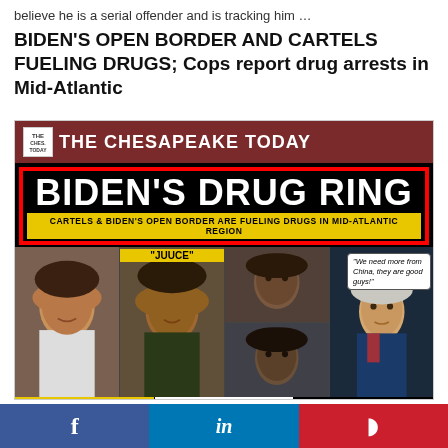believe he is a serial offender and is tracking him …
BIDEN'S OPEN BORDER AND CARTELS FUELING DRUGS; Cops report drug arrests in Mid-Atlantic
[Figure (infographic): The Chesapeake Today newspaper infographic titled BIDEN'S DRUG RING showing mugshots of Caheim Drake, Alpha Kanara (JUUCE), a couple, and Joe Biden with speech bubble, with captions about drug arrests.]
BIDEN'S OPEN BORDER AND CARTELS FUELING DRUGS; Cops
[Figure (infographic): Social media share bar with Facebook, LinkedIn, and Parler buttons]